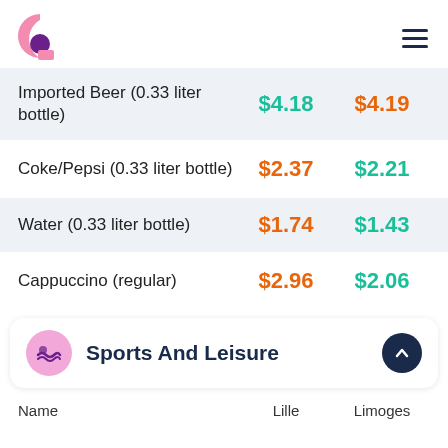Costoflife logo + navigation
| Name | Lille | Limoges |
| --- | --- | --- |
| Imported Beer (0.33 liter bottle) | $4.18 | $4.19 |
| Coke/Pepsi (0.33 liter bottle) | $2.37 | $2.21 |
| Water (0.33 liter bottle) | $1.74 | $1.43 |
| Cappuccino (regular) | $2.96 | $2.06 |
Sports And Leisure
| Name | Lille | Limoges |
| --- | --- | --- |